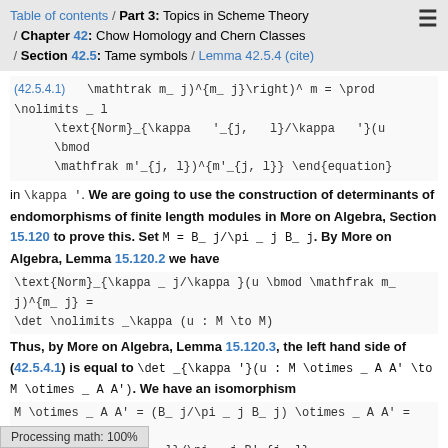Table of contents / Part 3: Topics in Scheme Theory / Chapter 42: Chow Homology and Chern Classes / Section 42.5: Tame symbols / Lemma 42.5.4 (cite)
in \kappa'. We are going to use the construction of determinants of endomorphisms of finite length modules in More on Algebra, Section 15.120 to prove this. Set M = B_j/\pi_j B_j. By More on Algebra, Lemma 15.120.2 we have
Thus, by More on Algebra, Lemma 15.120.3, the left hand side of (42.5.4.1) is equal to \det_{\kappa'}(u : M \otimes_A A' \to M \otimes_A A'). We have an isomorphism
of A'-modules. Setting M'_l = B'_{j,l}/\pi_j B'_{j,l} we see that \text{Norm}_{\kappa'_{j,l}/\kappa'}(u \bmod \mathfrak m'_{j,l}) = \det_{\kappa'}(u_j : M'_l \to M'_l) by More on
Processing math: 100%